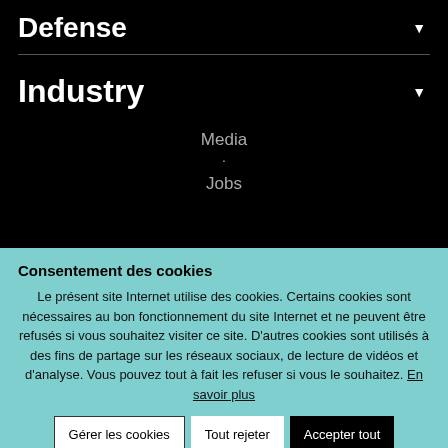Defense
Industry
Media
Jobs
Consentement des cookies
Le présent site Internet utilise des cookies. Certains cookies sont nécessaires au bon fonctionnement du site Internet et ne peuvent être refusés si vous souhaitez visiter ce site. D'autres cookies sont utilisés à des fins de partage sur les réseaux sociaux, de lecture de vidéos et d'analyse. Vous pouvez tout à fait les refuser si vous le souhaitez. En savoir plus